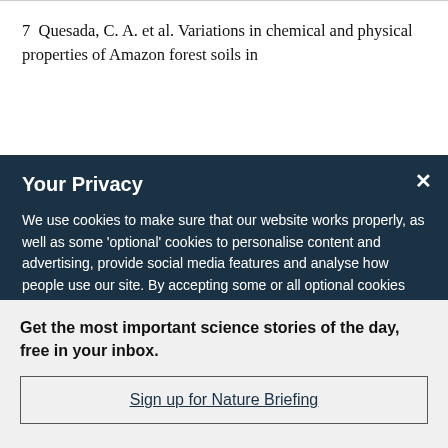7  Quesada, C. A. et al. Variations in chemical and physical properties of Amazon forest soils in
Your Privacy
We use cookies to make sure that our website works properly, as well as some 'optional' cookies to personalise content and advertising, provide social media features and analyse how people use our site. By accepting some or all optional cookies you give consent to the processing of your personal data, including transfer to third parties, some in countries outside of the European Economic Area that do not offer the same data protection standards as the country where you live. You can decide which optional cookies to accept by clicking on 'Manage Settings', where you can
Get the most important science stories of the day, free in your inbox.
Sign up for Nature Briefing